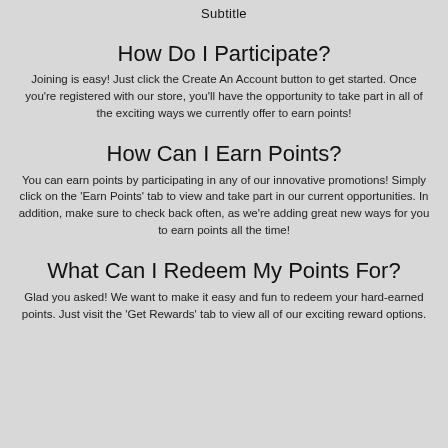Subtitle
How Do I Participate?
Joining is easy! Just click the Create An Account button to get started. Once you're registered with our store, you'll have the opportunity to take part in all of the exciting ways we currently offer to earn points!
How Can I Earn Points?
You can earn points by participating in any of our innovative promotions! Simply click on the 'Earn Points' tab to view and take part in our current opportunities. In addition, make sure to check back often, as we're adding great new ways for you to earn points all the time!
What Can I Redeem My Points For?
Glad you asked! We want to make it easy and fun to redeem your hard-earned points. Just visit the 'Get Rewards' tab to view all of our exciting reward options.